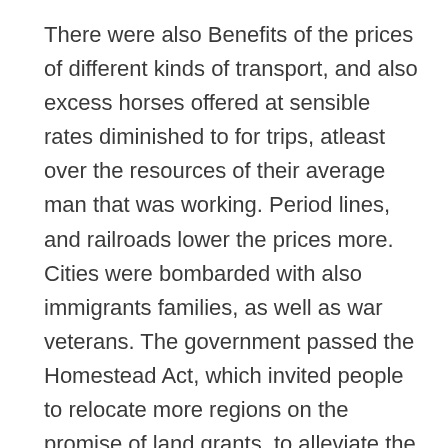There were also Benefits of the prices of different kinds of transport, and also excess horses offered at sensible rates diminished to for trips, atleast over the resources of their average man that was working. Period lines, and railroads lower the prices more. Cities were bombarded with also immigrants families, as well as war veterans. The government passed the Homestead Act, which invited people to relocate more regions on the promise of land grants, to alleviate the load on areas. This resisted the production of cities when silver gold, as well as other tools were discovered in such regions.